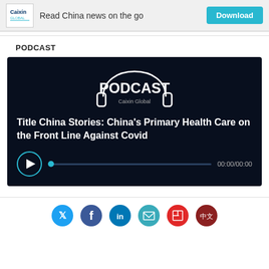[Figure (logo): Caixin Global logo with text 'Read China news on the go' and a cyan Download button]
PODCAST
[Figure (screenshot): Podcast player card on dark navy background showing headphone logo with PODCAST text and 'Caixin Global', title 'Title China Stories: China's Primary Health Care on the Front Line Against Covid', play button and progress bar with time 00:00/00:00]
[Figure (infographic): Social sharing icons row: Twitter (blue), Facebook (blue), LinkedIn (blue), Email (teal), Flipboard (red), Chinese (dark red 中文)]